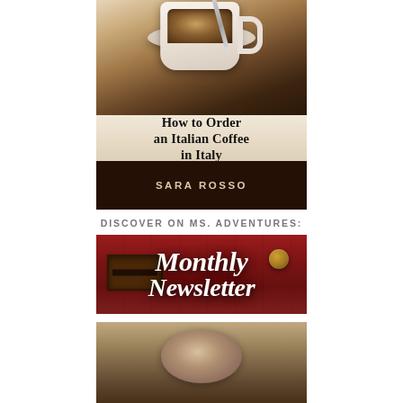[Figure (photo): Book cover: 'How to Order an Italian Coffee in Italy' by Sara Rosso. Top portion shows a white espresso cup on a saucer with a spoon, on a warm brown background. Title text appears over the cup area in serif font. Bottom dark band shows author name 'SARA ROSSO' in bold uppercase light text.]
DISCOVER ON MS. ADVENTURES:
[Figure (photo): Promotional image for 'Monthly Newsletter' showing cursive white text on a red wooden door/mailbox background with a metal mailbox slot and bronze door knob.]
[Figure (photo): Partial bottom image, appears to show a close-up food or coffee related photograph, cropped at the bottom of the page.]